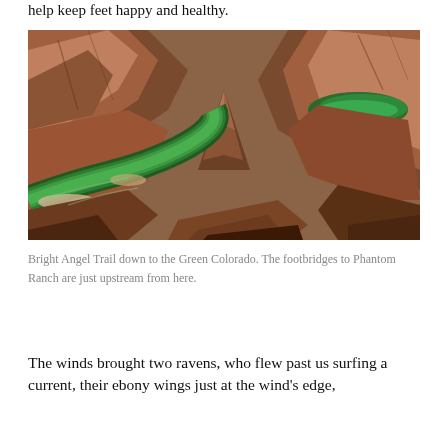help keep feet happy and healthy.
[Figure (photo): Aerial photograph of the Grand Canyon showing the Green Colorado River winding through deep red-brown canyon walls, taken along the Bright Angel Trail. A rocky pinnacle is visible in the center with the river curving around it.]
Bright Angel Trail down to the Green Colorado. The footbridges to Phantom Ranch are just upstream from here.
The winds brought two ravens, who flew past us surfing a current, their ebony wings just at the wind's edge,